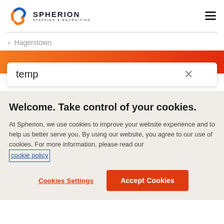[Figure (logo): Spherion Staffing & Recruiting logo with stylized orange and blue S icon]
‹ Hagerstown
[Figure (screenshot): Search input box with text 'temp' and an X close button]
Welcome. Take control of your cookies.
At Spherion, we use cookies to improve your website experience and to help us better serve you. By using our website, you agree to our use of cookies. For more information, please read our cookie policy
Cookies Settings
Accept Cookies